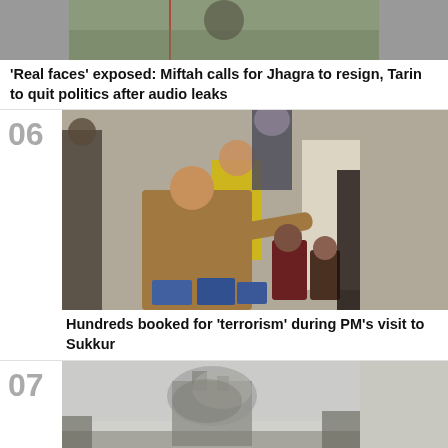[Figure (photo): Partial photo at top showing man with microphone on grass, cropped]
'Real faces' exposed: Miftah calls for Jhagra to resign, Tarin to quit politics after audio leaks
[Figure (photo): Photo of man in brown jacket reaching out to children at a camp or outdoor setting, labeled item 06]
Hundreds booked for 'terrorism' during PM's visit to Sukkur
[Figure (photo): Partial photo at bottom showing a building with smoke, labeled item 07]